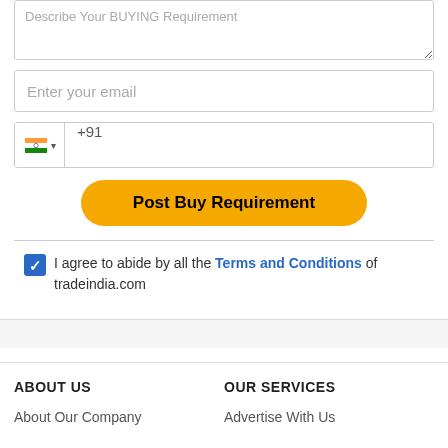Describe Your BUYING Requirement (textarea placeholder)
Enter your email
+91 (phone input with India flag)
Post Buy Requirement
I agree to abide by all the Terms and Conditions of tradeindia.com
ABOUT US
OUR SERVICES
About Our Company
Advertise With Us